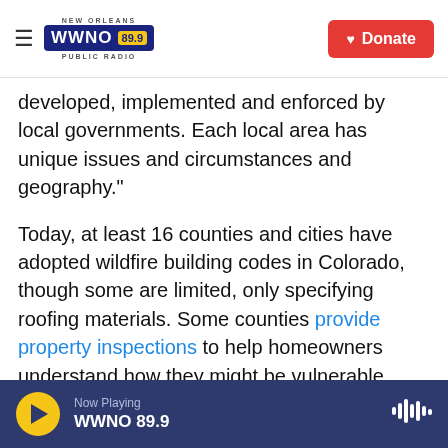NEW ORLEANS WWNO 89.9 PUBLIC RADIO | Donate
developed, implemented and enforced by local governments. Each local area has unique issues and circumstances and geography."
Today, at least 16 counties and cities have adopted wildfire building codes in Colorado, though some are limited, only specifying roofing materials. Some counties provide property inspections to help homeowners understand how they might be vulnerable.
But other cities and counties have held off, which Dale says is a sign of how local governments aren't
Now Playing WWNO 89.9